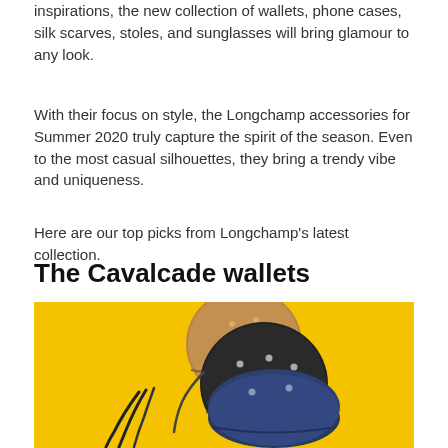inspirations, the new collection of wallets, phone cases, silk scarves, stoles, and sunglasses will bring glamour to any look.
With their focus on style, the Longchamp accessories for Summer 2020 truly capture the spirit of the season. Even to the most casual silhouettes, they bring a trendy vibe and uniqueness.
Here are our top picks from Longchamp's latest collection.
The Cavalcade wallets
[Figure (photo): Three round Cavalcade wallets by Longchamp on a yellow background — one tan/brown, one black, one navy blue — with zipper closures and small metal studs, with a black wrist strap visible.]